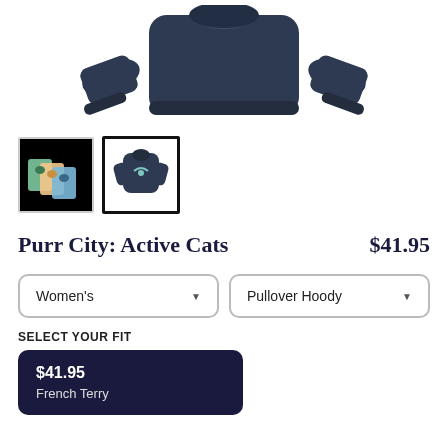[Figure (photo): Navy blue pullover hoodie product photo shown flat with two sleeves visible]
[Figure (photo): Two product thumbnail images: first shows colorful cat artwork on black background, second shows navy hoodie with cat design selected with border]
Purr City: Active Cats    $41.95
Women's (dropdown)    Pullover Hoody (dropdown)
SELECT YOUR FIT
$41.95
French Terry